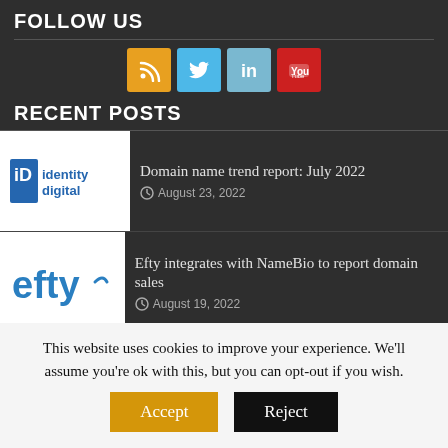FOLLOW US
[Figure (infographic): Four social media icon buttons: RSS (orange), Twitter (light blue), LinkedIn (light blue), YouTube (red)]
RECENT POSTS
[Figure (photo): Identity Digital logo – white background with blue 'iD identity digital' text]
Domain name trend report: July 2022
© August 23, 2022
[Figure (logo): Efty logo – white background with blue 'efty' text]
Efty integrates with NameBio to report domain sales
© August 19, 2022
[Figure (logo): PIR logo – blue background with white text .CHARITY .FOUNDATION .GIVES]
PIR now offers .CHARITY, .FOUNDATION, .GIVES
This website uses cookies to improve your experience. We'll assume you're ok with this, but you can opt-out if you wish.